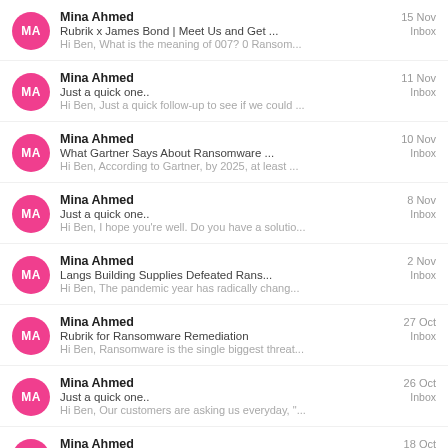Mina Ahmed | 15 Nov | Rubrik x James Bond | Meet Us and Get ... | Inbox | Hi Ben, What is the meaning of 007? 0 Ransom...
Mina Ahmed | 11 Nov | Just a quick one.. | Inbox | Hi Ben, Just a quick follow-up to see if we could ...
Mina Ahmed | 10 Nov | What Gartner Says About Ransomware ... | Inbox | Hi Ben, According to Gartner, by 2025, at least ...
Mina Ahmed | 8 Nov | Just a quick one.. | Inbox | Hi Ben, I hope you're well. Do you have a solutio...
Mina Ahmed | 2 Nov | Langs Building Supplies Defeated Rans... | Inbox | Hi Ben, The pandemic year has radically chang...
Mina Ahmed | 27 Oct | Rubrik for Ransomware Remediation | Inbox | Hi Ben, Ransomware is the single biggest threat...
Mina Ahmed | 26 Oct | Just a quick one.. | Inbox | Hi Ben, Our customers are asking us everyday, "...
Mina Ahmed | 18 Oct | Is your Microsoft 365 Suite Protected? | ... | Inbox | Hi Ben, Do you rely on Microsoft to backup, prot...
Mina Ahmed | 15 Oct | Rubrik for Cyber Resiliency | Free £120 ... | Inbox